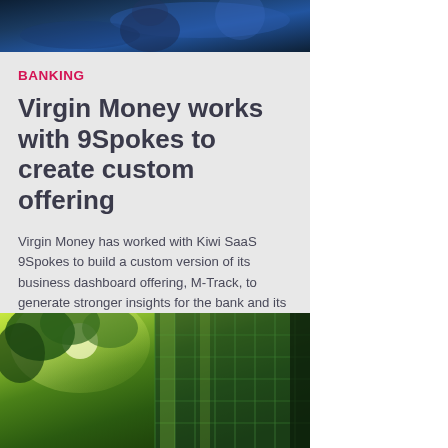[Figure (photo): Dark blue abstract background image, partially visible at the top of the card]
BANKING
Virgin Money works with 9Spokes to create custom offering
Virgin Money has worked with Kiwi SaaS 9Spokes to build a custom version of its business dashboard offering, M-Track, to generate stronger insights for the bank and its customers.
[Figure (photo): Green-toned photo of trees and a glass building facade reflecting sunlight]